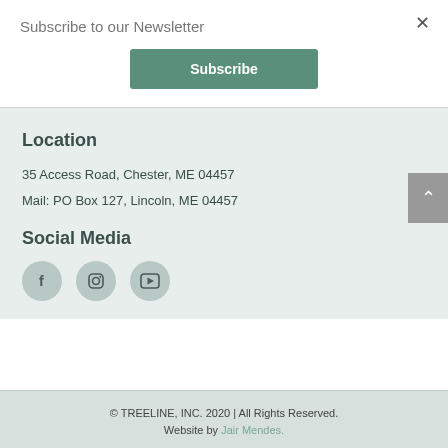Subscribe to our Newsletter
Subscribe
Location
35 Access Road, Chester, ME 04457
Mail: PO Box 127, Lincoln, ME 04457
Social Media
[Figure (illustration): Three social media icon circles: Facebook (f), Instagram (camera), YouTube (play button)]
© TREELINE, INC. 2020 | All Rights Reserved. Website by Jair Mendes.